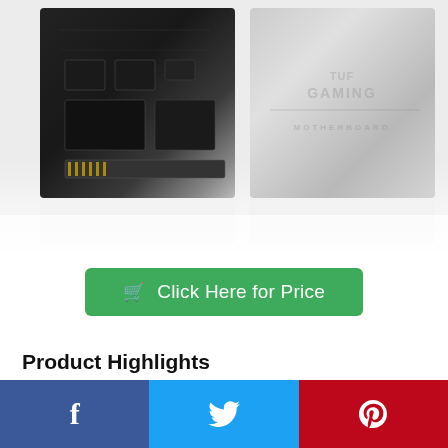[Figure (photo): Two product images side by side: left shows a TUF Gaming motherboard (dark circuit board with components), right shows a TUF Gaming box/packaging with logo text]
Click Here for Price
Product Highlights
TUF Gaming motherboards are built to be easy to set up and install just the way you like, including for first time builders. Featuring a simple CPU and memory overclocking to maximize and boost performance, this model has smart cooling controls to enhance machine
f  [Facebook]    [Twitter]    p [Pinterest]